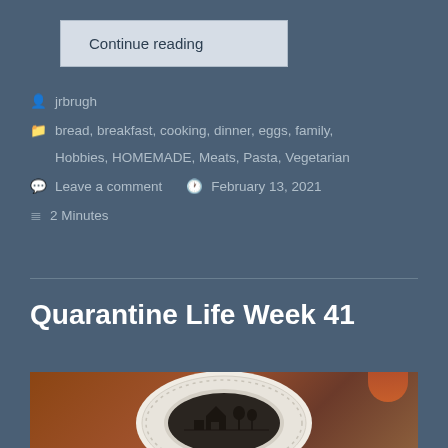Continue reading
jrbrugh
bread, breakfast, cooking, dinner, eggs, family, Hobbies, HOMEMADE, Meats, Pasta, Vegetarian
Leave a comment   February 13, 2021
2 Minutes
Quarantine Life Week 41
[Figure (photo): A decorative plate with an illustrated scene, photographed from above on a wooden surface with what appears to be a red/orange bowl nearby.]